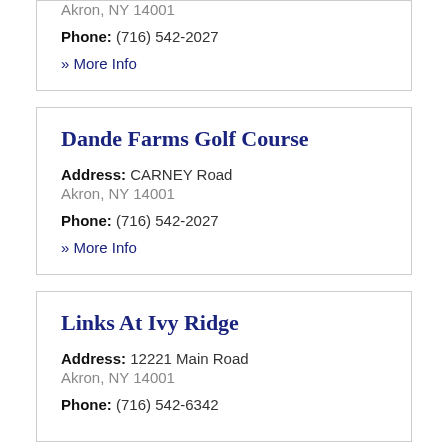Akron, NY 14001
Phone: (716) 542-2027
» More Info
Dande Farms Golf Course
Address: CARNEY Road
Akron, NY 14001
Phone: (716) 542-2027
» More Info
Links At Ivy Ridge
Address: 12221 Main Road
Akron, NY 14001
Phone: (716) 542-6342